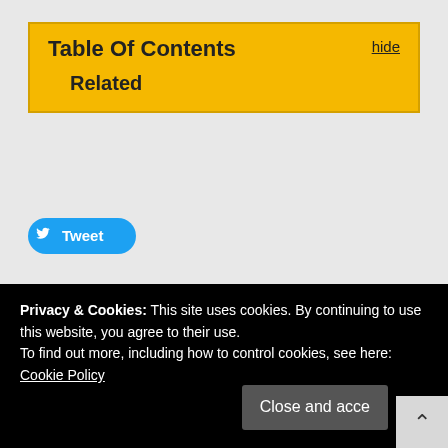Table Of Contents   hide
    Related
[Figure (other): Twitter Tweet button (blue rounded rectangle with bird icon and 'Tweet' text)]
In my blog series about external contributions to MySQL 8 we have reached version 8.0.18 which was released Monday 14 October 2019. Again the community has contributed to make MySQL better. Thank you.
Privacy & Cookies: This site uses cookies. By continuing to use this website, you agree to their use.
To find out more, including how to control cookies, see here: Cookie Policy
Close and accept